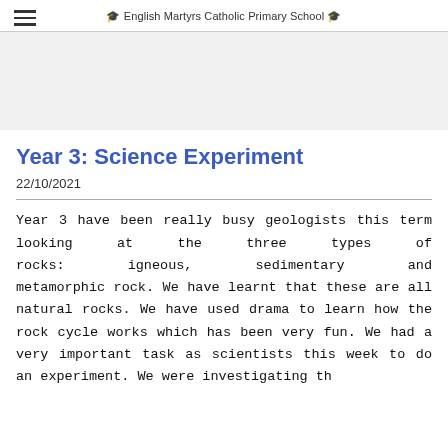English Martyrs Catholic Primary School
Year 3: Science Experiment
22/10/2021
Year 3 have been really busy geologists this term looking at the three types of rocks: igneous, sedimentary and metamorphic rock. We have learnt that these are all natural rocks. We have used drama to learn how the rock cycle works which has been very fun. We had a very important task as scientists this week to do an experiment. We were investigating th...